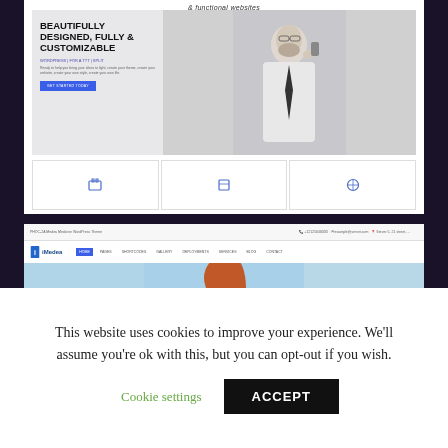[Figure (screenshot): Screenshot of a website with hero section showing bold text 'BEAUTIFULLY DESIGNED, FULLY & CUSTOMIZABLE' with a person on phone and icon row below]
[Figure (screenshot): Screenshot of iMedea medical WordPress theme showing navigation bar with Home, Pages, Shortcodes, Gallery, Deployments, Services, Blog, Contact links and a hero image of a woman]
This website uses cookies to improve your experience. We'll assume you're ok with this, but you can opt-out if you wish.
Cookie settings
ACCEPT